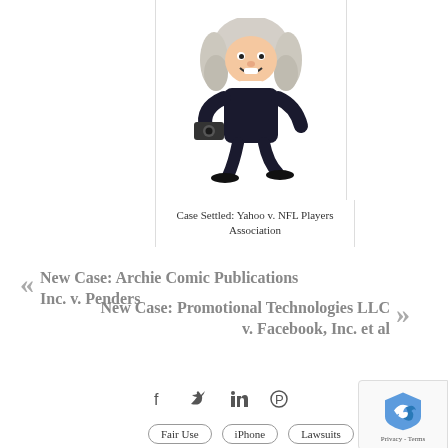[Figure (illustration): Cartoon figure of a lawyer/judge wearing a wig and holding a camera/gun, dressed in black]
Case Settled: Yahoo v. NFL Players Association
« New Case: Archie Comic Publications Inc. v. Penders
New Case: Promotional Technologies LLC v. Facebook, Inc. et al »
[Figure (other): Social media share icons: Facebook, Twitter, LinkedIn, Pinterest]
Fair Use
iPhone
Lawsuits
Middle District of Florida
Publicity
[Figure (other): reCAPTCHA badge with logo and Privacy/Terms text]